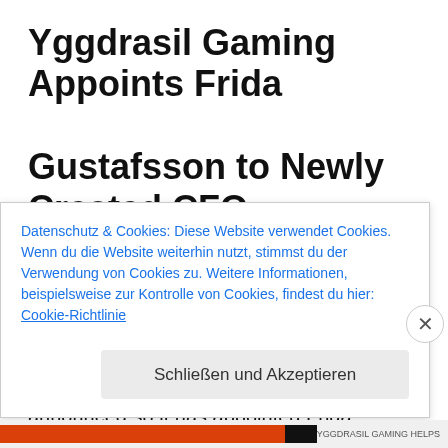Yggdrasil Gaming Appoints Frida Gustafsson to Newly Created CFO Post
Provider of video gaming content for the casino that is online Yggdrasil Gaming announced so it has appointed Frida Gustafsson to your newly produced role of Chief
Datenschutz & Cookies: Diese Website verwendet Cookies. Wenn du die Website weiterhin nutzt, stimmst du der Verwendung von Cookies zu. Weitere Informationen, beispielsweise zur Kontrolle von Cookies, findest du hier: Cookie-Richtlinie
Schließen und Akzeptieren